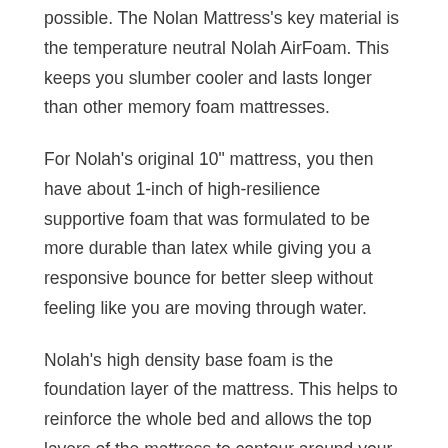possible. The Nolan Mattress's key material is the temperature neutral Nolah AirFoam. This keeps you slumber cooler and lasts longer than other memory foam mattresses.
For Nolah's original 10" mattress, you then have about 1-inch of high-resilience supportive foam that was formulated to be more durable than latex while giving you a responsive bounce for better sleep without feeling like you are moving through water.
Nolah's high density base foam is the foundation layer of the mattress. This helps to reinforce the whole bed and allows the top layers of the mattress to contour around your body. This is a critical element in any mattress as it needs to be durable to last for years on end. Nolah ensures this through some of the best designs and manufacturing found in the U.S.
All this is then wrapped in a sustainable cover known as “Origin Tencel,” which gives the mattress a smooth finish without needing too much disruptive manufacturing in the process.